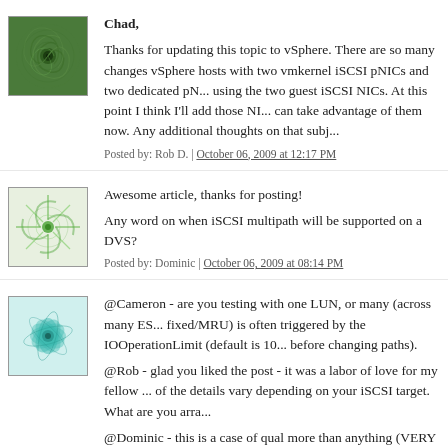[Figure (illustration): Green fractal/spiral pattern avatar for Rob D.]
Chad,

Thanks for updating this topic to vSphere. There are so many changes vSphere hosts with two vmkernel iSCSI pNICs and two dedicated pN... using the two guest iSCSI NICs. At this point I think I'll add those NI... can take advantage of them now. Any additional thoughts on that subj...
Posted by: Rob D. | October 06, 2009 at 12:17 PM
[Figure (illustration): Green spiral/burst pattern avatar for Dominic]
Awesome article, thanks for posting!

Any word on when iSCSI multipath will be supported on a DVS?
Posted by: Dominic | October 06, 2009 at 08:14 PM
[Figure (illustration): Teal/cyan feather-like pattern avatar for Chad Sakac]
@Cameron - are you testing with one LUN, or many (across many ES... fixed/MRU) is often triggered by the IOOperationLimit (default is 10... before changing paths).

@Rob - glad you liked the post - it was a labor of love for my fellow ... of the details vary depending on your iSCSI target. What are you arra...

@Dominic - this is a case of qual more than anything (VERY importa... issue) - working on it hard. Will get the target date and get back to yo...
Posted by: Chad Sakac | October 06, 2009 at 09:40 PM